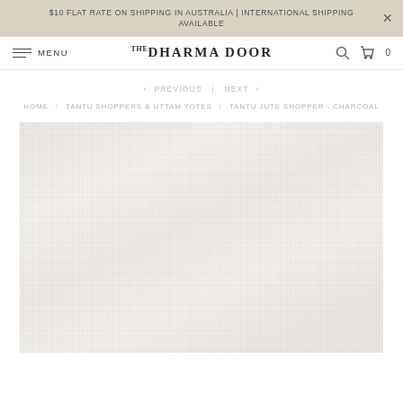$10 FLAT RATE ON SHIPPING IN AUSTRALIA | INTERNATIONAL SHIPPING AVAILABLE
MENU | THE DHARMA DOOR | Search | Cart 0
< PREVIOUS | NEXT >
HOME / TANTU SHOPPERS & UTTAM TOTES / TANTU JUTE SHOPPER - CHARCOAL
[Figure (photo): Product image area showing a light-colored woven jute textile texture in near-white/pale cream tones, serving as a placeholder or background for the Tantu Jute Shopper - Charcoal product]